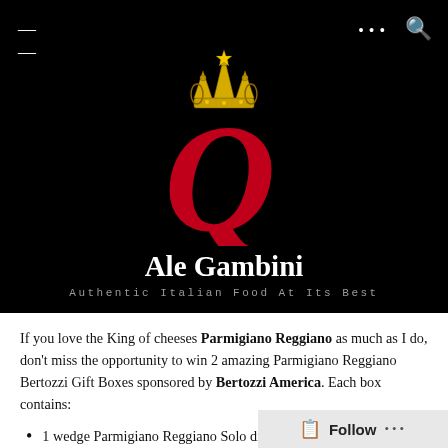[Figure (logo): Ale Gambini blog header with a decorative royal crown in gold above a large red cursive Q letter on black background]
Ale Gambini
Authentic Italian Food At Its Best
If you love the King of cheeses Parmigiano Reggiano as much as I do, don't miss the opportunity to win 2 amazing Parmigiano Reggiano Bertozzi Gift Boxes sponsored by Bertozzi America. Each box contains:
1 wedge Parmigiano Reggiano Solo di Bruna.